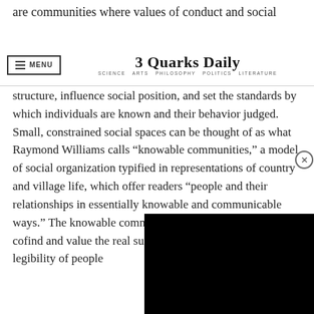are communities where values of conduct and social
3 Quarks Daily — SCIENCE ARTS PHILOSOPHY POLITICS LITERATURE
structure, influence social position, and set the standards by which individuals are known and their behavior judged. Small, constrained social spaces can be thought of as what Raymond Williams calls “knowable communities,” a model of social organization typified in representations of country and village life, which offer readers “people and their relationships in essentially knowable and communicable ways.” The knowable community is a sphere of face-to-face co[ntact where people can] find and value the real su[bstance of personal] relationships.” What’s im[portant in this model] is the legibility of people[...]